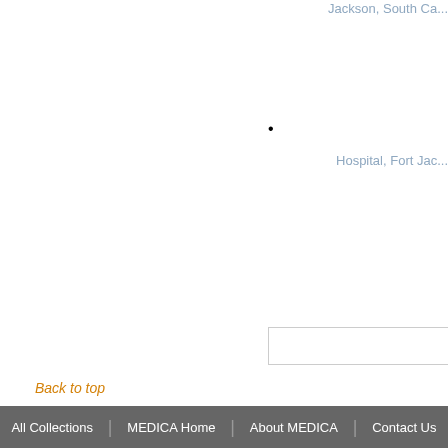Jackson, South Ca...
•
Hospital, Fort Jac...
Back to top
All Collections | MEDICA Home | About MEDICA | Contact Us